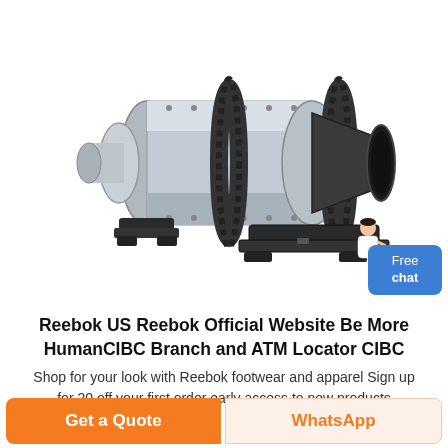[Figure (photo): Industrial ball mill / grinding machine — a large horizontal cylindrical steel drum with a large ring gear around its circumference, mounted on a heavy cast base, with a conical discharge end featuring a large circular opening. The machine is metallic grey and black.]
Reebok US Reebok Official Website Be More HumanCIBC Branch and ATM Locator CIBC
Shop for your look with Reebok footwear and apparel Sign up for 20 off your first order early access to new products